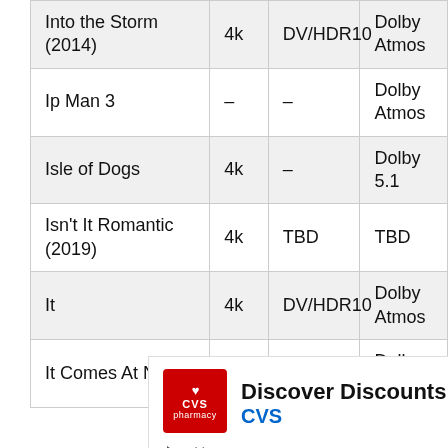|  |  |  |  |
| --- | --- | --- | --- |
| Into the Storm (2014) | 4k | DV/HDR10 | Dolby Atmos |
| Ip Man 3 | – | – | Dolby Atmos |
| Isle of Dogs | 4k | – | Dolby 5.1 |
| Isn't It Romantic (2019) | 4k | TBD | TBD |
| It | 4k | DV/HDR10 | Dolby Atmos |
| It Comes At Night | 4k | DV/HDR10 | Dolby 5.1 |
[Figure (other): Advertisement banner for CVS pharmacy: 'Discover Discounts At CVS®' with CVS logo and navigation arrow icon, plus play and close controls.]